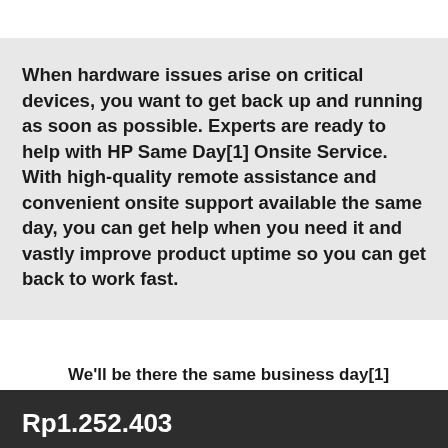When hardware issues arise on critical devices, you want to get back up and running as soon as possible. Experts are ready to help with HP Same Day[1] Onsite Service. With high-quality remote assistance and convenient onsite support available the same day, you can get help when you need it and vastly improve product uptime so you can get back to work fast.
We'll be there the same business day[1]
Rp1.252.403
TAMBAHKAN KE KERANJANG